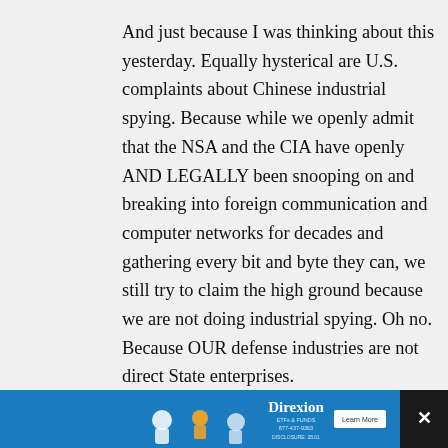And just because I was thinking about this yesterday. Equally hysterical are U.S. complaints about Chinese industrial spying. Because while we openly admit that the NSA and the CIA have openly AND LEGALLY been snooping on and breaking into foreign communication and computer networks for decades and gathering every bit and byte they can, we still try to claim the high ground because we are not doing industrial spying. Oh no. Because OUR defense industries are not direct State enterprises.
Yep no cross fertilization between NASA, its contractors and the Defense Space Agency. Nope. And I am really really sure that anything the CIA learns about the radar signatures of Chinese and
[Figure (other): Advertisement banner for Direxion with blue background, illustrated figures on left, Direxion logo and Learn More button on right, and close (X) button at far right.]